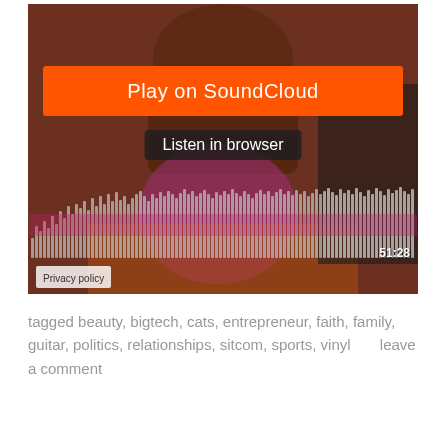[Figure (screenshot): SoundCloud embedded player showing a photo of a man and young child, with an orange 'Play on SoundCloud' button, a 'Listen in browser' button, an audio waveform display, a time stamp '51:28', and a 'Privacy policy' label.]
tagged beauty, bigtech, cats, entrepreneur, faith, family, guitar, politics, relationships, sitcom, sports, vinyl      leave a comment